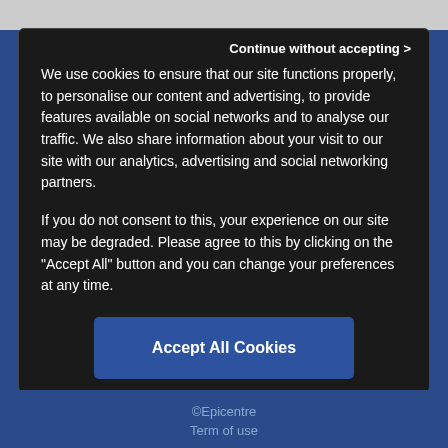Continue without accepting >
We use cookies to ensure that our site functions properly, to personalise our content and advertising, to provide features available on social networks and to analyse our traffic. We also share information about your visit to our site with our analytics, advertising and social networking partners.
If you do not consent to this, your experience on our site may be degraded. Please agree to this by clicking on the "Accept All" button and you can change your preferences at any time.
Accept All Cookies
Cookies Settings
©Epicentre
Term of use